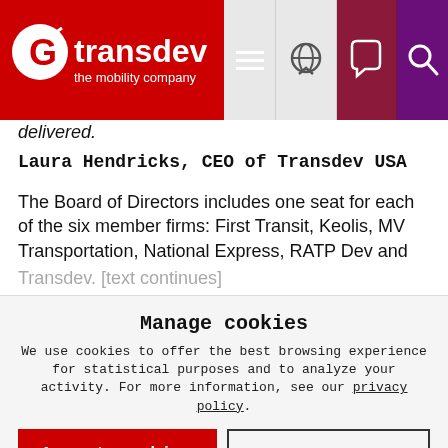Transdev – the mobility company [navigation header with logo, menu, globe, chat, search icons]
delivered.
Laura Hendricks, CEO of Transdev USA
The Board of Directors includes one seat for each of the six member firms: First Transit, Keolis, MV Transportation, National Express, RATP Dev and Transdev. [partially obscured by cookie banner]
Manage cookies
We use cookies to offer the best browsing experience for statistical purposes and to analyze your activity. For more information, see our privacy policy.
Accept cookies
Refuse cookies
Manage cookies